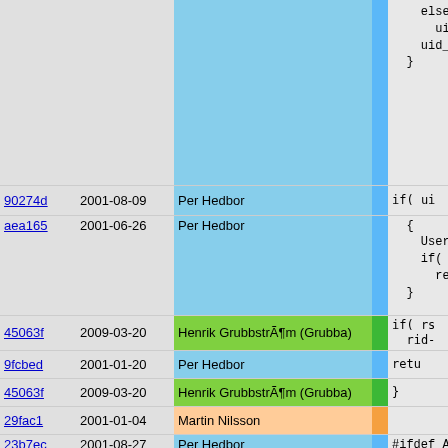| hash | date | author |  | code |
| --- | --- | --- | --- | --- |
|  |  |  |  | else
  ui
uid_
} |
| 90274d | 2001-08-09 | Per Hedbor |  | if( ui |
| aea165 | 2001-06-26 | Per Hedbor |  | {
  User
  if(
    re
} |
| 45063f | 2009-03-20 | Henrik Grubbström (Grubba) |  | if( rs
  rid- |
| 9fcbed | 2001-01-20 | Per Hedbor |  | retu |
| 45063f | 2009-03-20 | Henrik Grubbström (Grubba) |  | } |
| 29fac1 | 2001-01-04 | Martin Nilsson |  |  |
| 23b7ec | 2001-08-27 | Per Hedbor |  | #ifdef ARG
  werr
#endif |
| 23f843 | 2001-09-05 | Per Hedbor |  | q = QU |
| 9fcbed | 2001-01-20 | Per Hedbor |  | if( si |
| 55fc49 | 2000-12-30 | Per Hedbor |  | { |